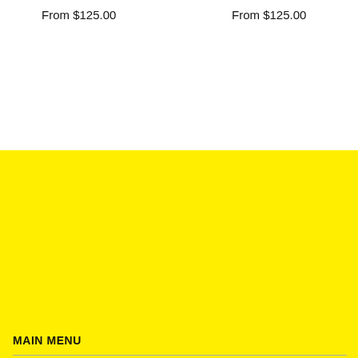From $125.00
From $125.00
MAIN MENU
HOME
BIRDS AND ARROWS AND WATERMELON WISE
SHOP ALL COLLECTIONS
EVENTS
BORJO COFFEE HOUSE COLLECTION